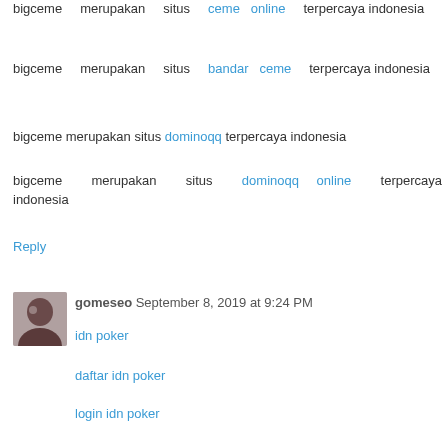bigceme merupakan situs ceme online terpercaya indonesia
bigceme merupakan situs bandar ceme terpercaya indonesia
bigceme merupakan situs dominoqq terpercaya indonesia
bigceme merupakan situs dominoqq online terpercaya indonesia
Reply
gomeseo September 8, 2019 at 9:24 PM
idn poker
daftar idn poker
login idn poker
link idn poker